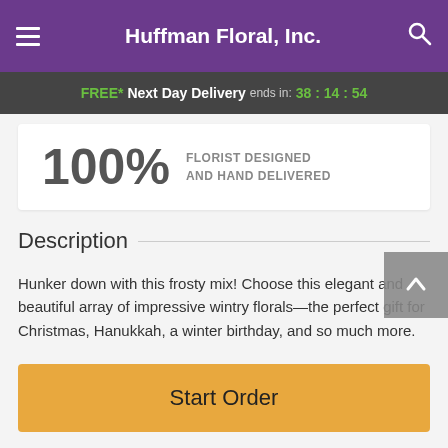Huffman Floral, Inc.
FREE* Next Day Delivery ends in: 38:14:54
100% FLORIST DESIGNED AND HAND DELIVERED
Description
Hunker down with this frosty mix! Choose this elegant and beautiful array of impressive wintry florals—the perfect gift for Christmas, Hanukkah, a winter birthday, and so much more.
White lilies, white tulips, bells of Ireland, pine cones
Start Order